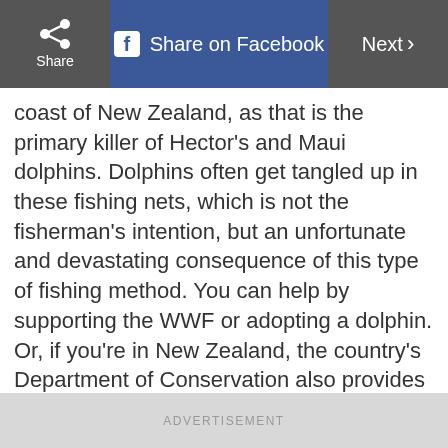Share | Share on Facebook | Next
coast of New Zealand, as that is the primary killer of Hector’s and Maui dolphins. Dolphins often get tangled up in these fishing nets, which is not the fisherman’s intention, but an unfortunate and devastating consequence of this type of fishing method. You can help by supporting the WWF or adopting a dolphin. Or, if you’re in New Zealand, the country’s Department of Conservation also provides helpful and specific information on how you can help save this...
ADVERTISEMENT